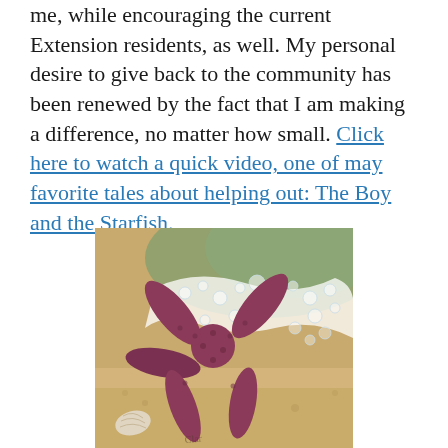me, while encouraging the current Extension residents, as well. My personal desire to give back to the community has been renewed by the fact that I am making a difference, no matter how small. Click here to watch a quick video, one of may favorite tales about helping out: The Boy and the Starfish.
[Figure (photo): Close-up photo of a red-purple starfish on sandy beach with ocean foam/bubbles washing over it and a shell visible in the lower corner.]